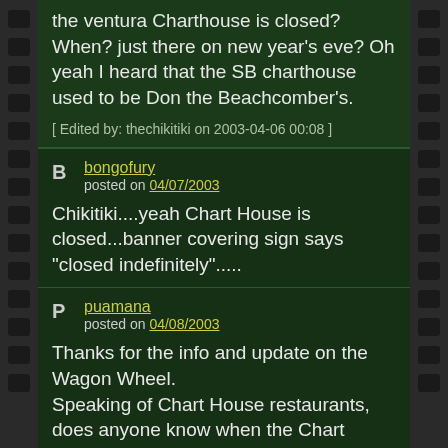the ventura Charthouse is closed? When? just there on new year's eve? Oh yeah I heard that the SB charthouse used to be Don the Beachcomber's.
[ Edited by: thechikitiki on 2003-04-06 00:08 ]
bongofury
posted on 04/07/2003
Chikitiki....yeah Chart House is closed...banner covering sign says "closed indefinitely".....
puamana
posted on 04/08/2003
Thanks for the info and update on the Wagon Wheel.
Speaking of Chart House restaurants, does anyone know when the Chart House in Maui